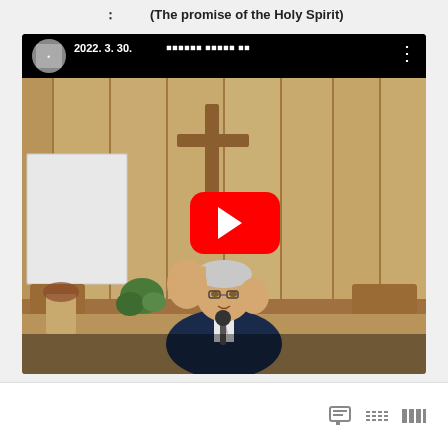: (The promise of the Holy Spirit)
[Figure (screenshot): YouTube video thumbnail of a church sermon dated 2022. 3. 30. with Korean text. A pastor in a dark suit gestures at a pulpit in front of a wooden cross backdrop. A red YouTube play button overlays the center of the image.]
[Figure (other): Bottom bar with icon symbols — appears to be a comment/share/more options row]